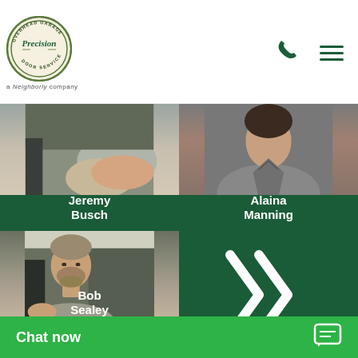[Figure (logo): Precision Overhead Garage Door Service logo — circular badge with 'OVERHEAD GARAGE DOOR SERVICE' around the rim and 'Precision' in the center, 'a Neighborly company' tagline below]
[Figure (photo): Photo of Jeremy Busch, showing arm/torso of person in vehicle]
Jeremy Busch
[Figure (photo): Photo of Alaina Manning, woman in grey v-neck top]
Alaina Manning
[Figure (photo): Photo of Bob Sealey, man with beard sitting in vehicle]
Bob Sealey
[Figure (illustration): Double right-arrow chevron icon in white on dark green background, indicating next/more navigation]
Chat now